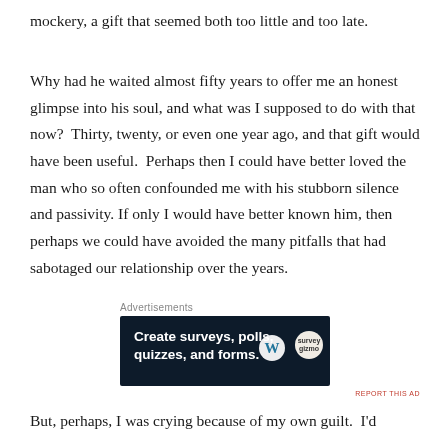mockery, a gift that seemed both too little and too late.
Why had he waited almost fifty years to offer me an honest glimpse into his soul, and what was I supposed to do with that now?  Thirty, twenty, or even one year ago, and that gift would have been useful.  Perhaps then I could have better loved the man who so often confounded me with his stubborn silence and passivity.  If only I would have better known him, then perhaps we could have avoided the many pitfalls that had sabotaged our relationship over the years.
Advertisements
[Figure (other): Advertisement banner with dark navy background. Bold white text reads: Create surveys, polls, quizzes, and forms. WordPress logo and SurveyMonkey logo on right side.]
REPORT THIS AD
But, perhaps, I was crying because of my own guilt.  I'd